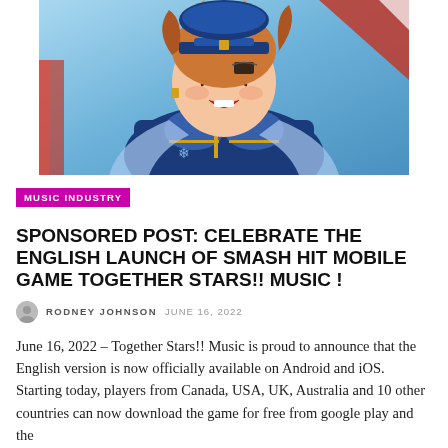[Figure (illustration): Anime-style character illustration: a young smiling character with orange/brown hair, wearing a blue uniform with gold accents, against a colorful background with blue sky tones and red/white decorative elements.]
MUSIC INDUSTRY
SPONSORED POST: CELEBRATE THE ENGLISH LAUNCH OF SMASH HIT MOBILE GAME TOGETHER STARS!! MUSIC !
RODNEY JOHNSON   JUNE 16, 2022
June 16, 2022 – Together Stars!! Music is proud to announce that the English version is now officially available on Android and iOS. Starting today, players from Canada, USA, UK, Australia and 10 other countries can now download the game for free from google play and the